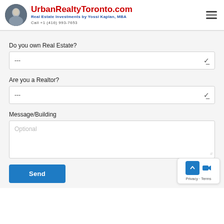UrbanRealtyToronto.com — Real Estate Investments by Yossi Kaplan, MBA — Call +1 (416) 993-7653
Do you own Real Estate?
---
Are you a Realtor?
---
Message/Building
Optional
Send
Privacy · Terms